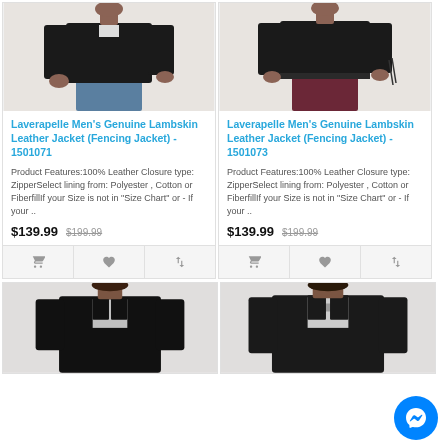[Figure (photo): Man wearing black leather jacket, left product]
Laverapelle Men's Genuine Lambskin Leather Jacket (Fencing Jacket) - 1501071
Product Features:100% Leather Closure type: ZipperSelect lining from: Polyester , Cotton or FiberfillIf your Size is not in "Size Chart" or - If your ..
$139.99  $199.99
[Figure (photo): Man wearing black leather jacket, right product]
Laverapelle Men's Genuine Lambskin Leather Jacket (Fencing Jacket) - 1501073
Product Features:100% Leather Closure type: ZipperSelect lining from: Polyester , Cotton or FiberfillIf your Size is not in "Size Chart" or - If your ..
$139.99  $199.99
[Figure (photo): Man wearing black leather jacket, bottom left product]
[Figure (photo): Man wearing black leather jacket, bottom right product]